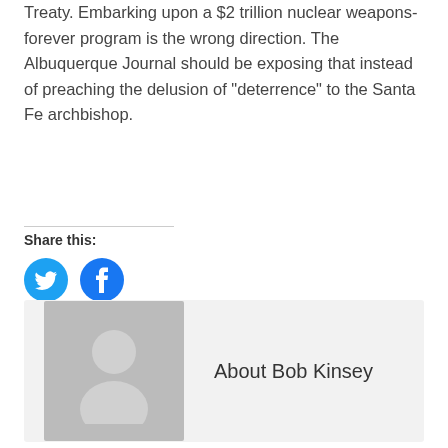Treaty. Embarking upon a $2 trillion nuclear weapons-forever program is the wrong direction. The Albuquerque Journal should be exposing that instead of preaching the delusion of "deterrence" to the Santa Fe archbishop.
Share this:
[Figure (illustration): Twitter and Facebook share buttons as blue circular icons]
[Figure (photo): Default user avatar placeholder image (grey silhouette on grey background)]
About Bob Kinsey